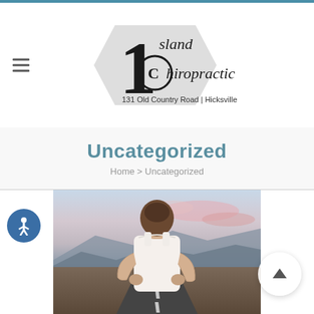[Figure (logo): 1 Island Chiropractic logo with text '131 Old Country Road | Hicksville, NY 11801']
Uncategorized
Home > Uncategorized
[Figure (photo): Man in white tank top seen from behind holding his lower back, standing on a road at dusk with mountains in the background — back pain imagery for chiropractic website]